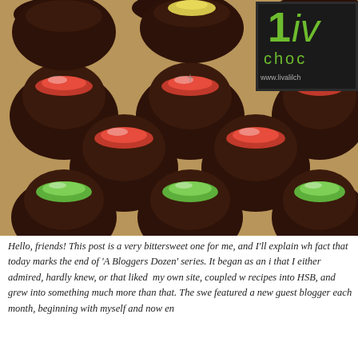[Figure (photo): Photograph of dark chocolate bonbons/truffles with glossy red and green colored tops arranged on a wooden surface. A box with the 'liv choc' brand logo and website www.livalilch is visible in the upper right corner.]
Hello, friends! This post is a very bittersweet one for me, and I'll explain wh fact that today marks the end of 'A Bloggers Dozen' series. It began as an i that I either admired, hardly knew, or that liked my own site, coupled w recipes into HSB, and grew into something much more than that. The swe featured a new guest blogger each month, beginning with myself and now en